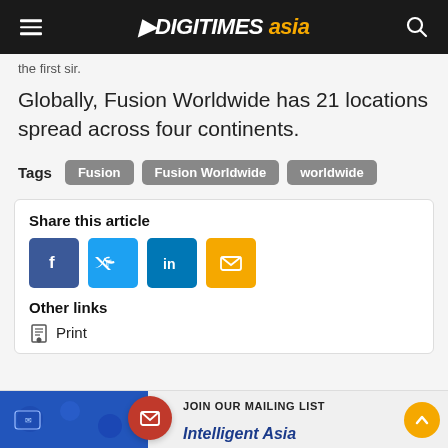DIGITIMES asia
the first sir.
Globally, Fusion Worldwide has 21 locations spread across four continents.
Tags  Fusion  Fusion Worldwide  worldwide
Share this article
Other links
Print
JOIN OUR MAILING LIST
Intelligent Asia